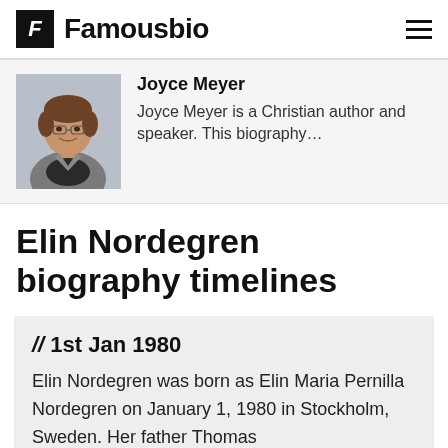Famousbio
[Figure (photo): Photo of Joyce Meyer, a woman with short brown hair wearing a grey jacket]
Joyce Meyer
Joyce Meyer is a Christian author and speaker. This biography…
Elin Nordegren biography timelines
// 1st Jan 1980
Elin Nordegren was born as Elin Maria Pernilla Nordegren on January 1, 1980 in Stockholm, Sweden. Her father Thomas